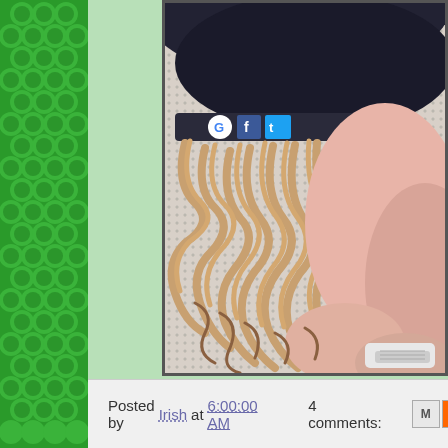[Figure (illustration): Green clover/shamrock decorative sidebar pattern on dark green background]
[Figure (illustration): Digital illustration of a girl with curly blonde hair wearing a dark baseball cap with social media logos (Google, Facebook, Twitter) on the brim, dressed in pink, sitting on a textured surface]
Posted by Irish at 6:00:00 AM    4 comments: